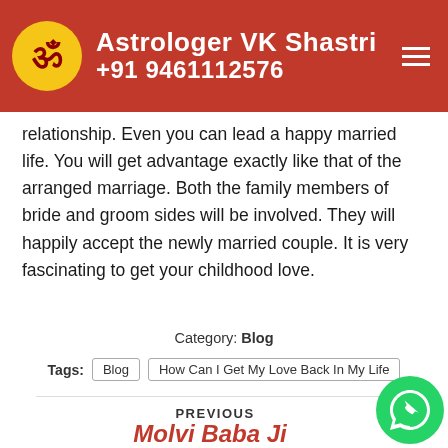Astrologer VK Shastri +91 9461112576
relationship. Even you can lead a happy married life. You will get advantage exactly like that of the arranged marriage. Both the family members of bride and groom sides will be involved. They will happily accept the newly married couple. It is very fascinating to get your childhood love.
Category: Blog
Tags: Blog  How Can I Get My Love Back In My Life
PREVIOUS
Molvi Baba Ji